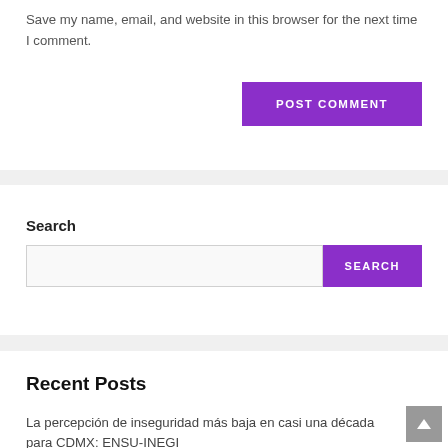Save my name, email, and website in this browser for the next time I comment.
POST COMMENT
Search
SEARCH
Recent Posts
La percepción de inseguridad más baja en casi una década para CDMX: ENSU-INEGI